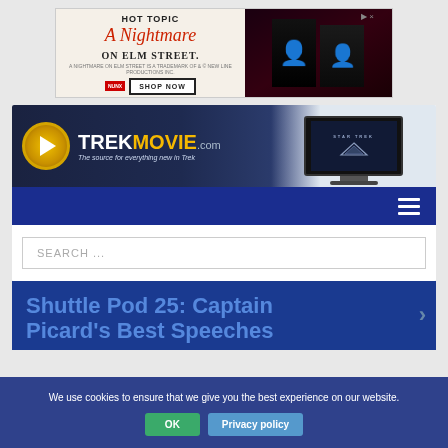[Figure (screenshot): Hot Topic advertisement banner for 'A Nightmare on Elm Street' merchandise with SHOP NOW button and two figures in dark clothing]
[Figure (screenshot): TrekMovie.com website header banner with logo, tagline 'The source for everything new in Trek', and a TV screen showing Star Trek logo on the right]
[Figure (screenshot): Dark blue navigation bar with hamburger menu icon on the right]
SEARCH ...
We use cookies to ensure that we give you the best experience on our website.
Shuttle Pod 25: Captain Picard's Best Speeches